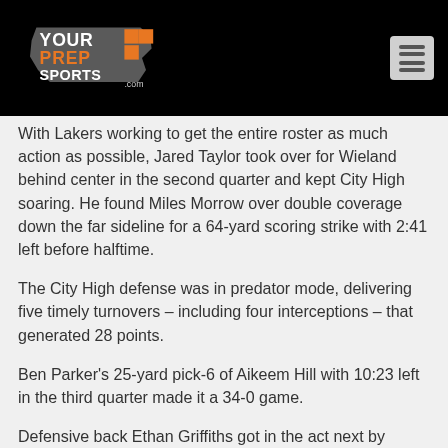YourPrepSports.com
With Lakers working to get the entire roster as much action as possible, Jared Taylor took over for Wieland behind center in the second quarter and kept City High soaring. He found Miles Morrow over double coverage down the far sideline for a 64-yard scoring strike with 2:41 left before halftime.
The City High defense was in predator mode, delivering five timely turnovers – including four interceptions – that generated 28 points.
Ben Parker's 25-yard pick-6 of Aikeem Hill with 10:23 left in the third quarter made it a 34-0 game.
Defensive back Ethan Griffiths got in the act next by short-circuiting the Wildcats by seizing a recovery with…